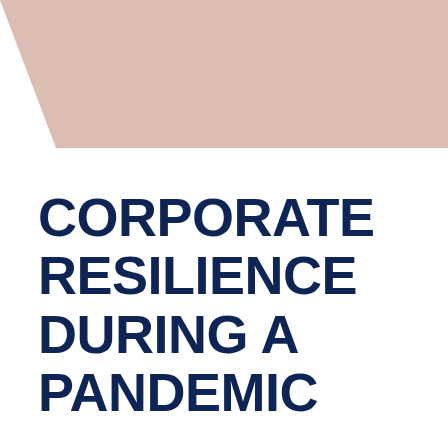[Figure (illustration): Decorative trapezoid shape in muted rose/blush pink color at the top of the page, wider at the top and angled at the bottom]
CORPORATE RESILIENCE DURING A PANDEMIC